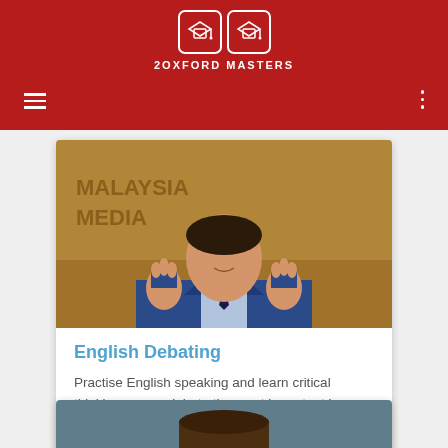[Figure (logo): 2Oxford Masters logo with two mortar board cap icons in white boxes on red background, with text '2OXFORD MASTERS' below]
[Figure (photo): Photo of a man in a blue suit and tie gesturing with both hands raised, in front of a sign reading 'Malaysia Media']
English Debating
Practise English speaking and learn critical thinking as you debate the most important issues today!
[Figure (photo): Partial photo of a person, cropped at bottom of page]